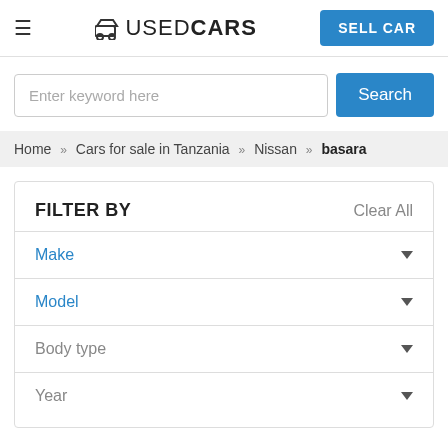≡  USED CARS  SELL CAR
Enter keyword here  Search
Home » Cars for sale in Tanzania » Nissan » basara
FILTER BY  Clear All
Make
Model
Body type
Year